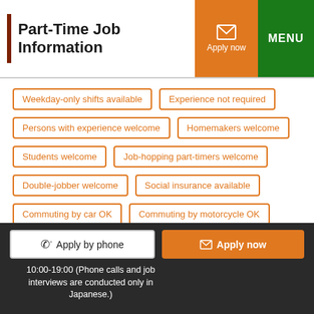Part-Time Job Information
Weekday-only shifts available
Experience not required
Persons with experience welcome
Homemakers welcome
Students welcome
Job-hopping part-timers welcome
Double-jobber welcome
Social insurance available
Commuting by car OK
Commuting by motorcycle OK
Commuting by bicycle OK
Job training available
Pay raise possible
No smoking indoors
Apply by phone
Apply now
10:00-19:00 (Phone calls and job interviews are conducted only in Japanese.)